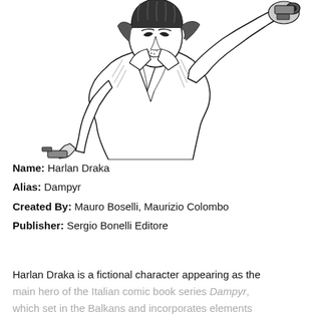[Figure (illustration): Black and white comic book illustration of Harlan Draka (Dampyr), a man with medium-length dark hair wearing a dark coat, holding a pistol raised in his right hand and another gun at his side. Art is detailed ink work in Italian comic style.]
Name: Harlan Draka
Alias: Dampyr
Created By: Mauro Boselli, Maurizio Colombo
Publisher: Sergio Bonelli Editore
Harlan Draka is a fictional character appearing as the main hero of the Italian comic book series Dampyr, which set in the Balkans and incorporates elements